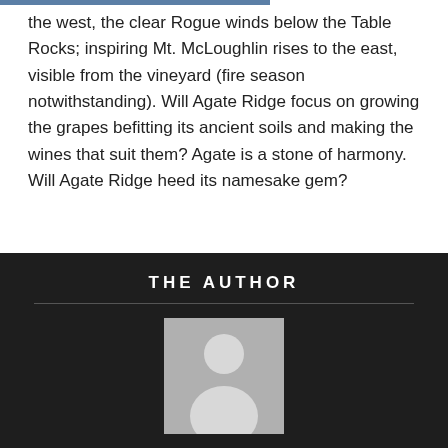the west, the clear Rogue winds below the Table Rocks; inspiring Mt. McLoughlin rises to the east, visible from the vineyard (fire season notwithstanding). Will Agate Ridge focus on growing the grapes befitting its ancient soils and making the wines that suit them? Agate is a stone of harmony. Will Agate Ridge heed its namesake gem?
THE AUTHOR
[Figure (illustration): Placeholder avatar showing a grey silhouette of a person on a light grey background]
CHARLES FISCHMAN